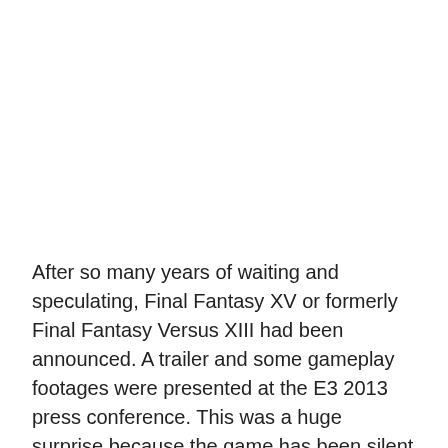After so many years of waiting and speculating, Final Fantasy XV or formerly Final Fantasy Versus XIII had been announced. A trailer and some gameplay footages were presented at the E3 2013 press conference. This was a huge surprise because the game has been silent since 2011. The game was first revealed in 2006, then it remained silent until 2011. It was originally developed exclusively for the Playstation 3. However, Tetsuya Nomura (the game's director) decided to shift it to the